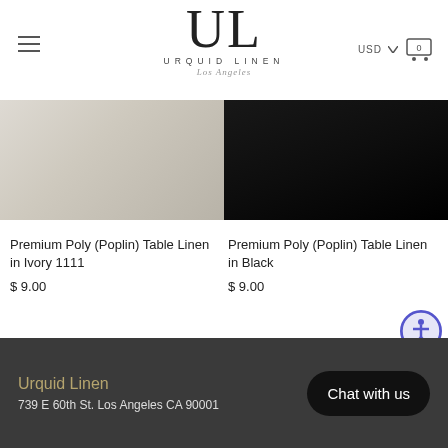UL URQUID LINEN Los Angeles — USD cart
[Figure (photo): Premium Poly (Poplin) Table Linen in Ivory — light beige/ivory draped fabric swatch]
[Figure (photo): Premium Poly (Poplin) Table Linen in Black — black draped fabric swatch]
Premium Poly (Poplin) Table Linen in Ivory 1111
$ 9.00
Premium Poly (Poplin) Table Linen in Black
$ 9.00
Urquid Linen
739 E 60th St. Los Angeles CA 90001
Chat with us